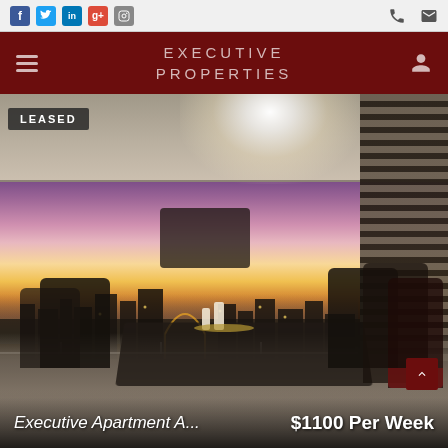Executive Properties — social and contact navigation bar
EXECUTIVE PROPERTIES
[Figure (photo): Apartment balcony with outdoor dining table and chairs overlooking a city skyline at sunset, with purple and orange sky. A 'LEASED' badge is shown in the top-left corner of the photo.]
Executive Apartment A... $1100 Per Week